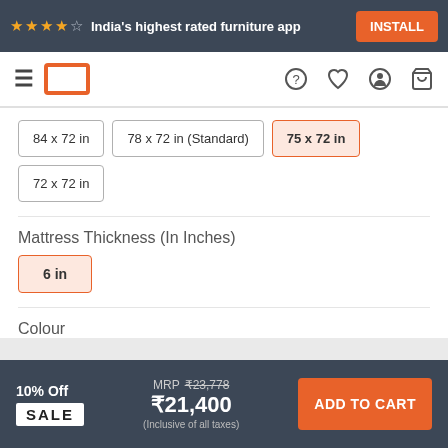★★★★☆ India's highest rated furniture app  INSTALL
[Figure (screenshot): Navigation bar with hamburger menu, Urban Ladder logo, and icons for help, wishlist, account, and cart]
84 x 72 in
78 x 72 in (Standard)
75 x 72 in (selected)
72 x 72 in
Mattress Thickness (In Inches)
6 in (selected)
Colour
Maroon
Blue (selected)
10% Off SALE  MRP ₹23,778  ₹21,400  (Inclusive of all taxes)  ADD TO CART